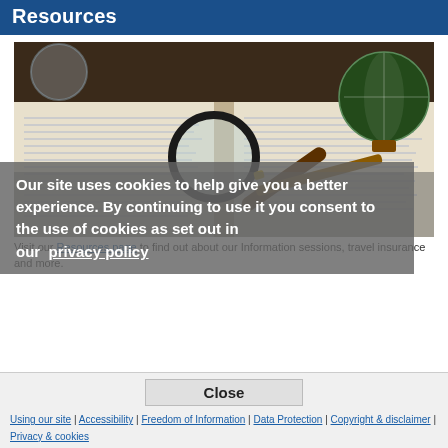Resources
[Figure (photo): Open book with magnifying glass and pen on top, globe visible in background — stock photo for a resources page]
Visit our Resources page to find out about our Information sessions, travel insurance and more.
Our site uses cookies to help give you a better experience. By continuing to use it you consent to the use of cookies as set out in our privacy policy
Close | Using our site | Accessibility | Freedom of Information | Data Protection | Copyright & disclaimer | Privacy & cookies